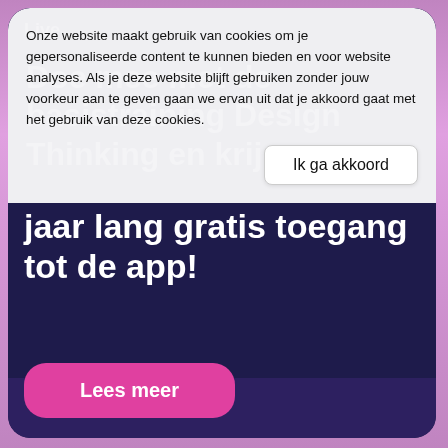[Figure (screenshot): Website screenshot showing a cookie consent overlay on top of a dark navy blue card with a promotional headline about a free app access offer.]
Onze website maakt gebruik van cookies om je gepersonaliseerde content te kunnen bieden en voor website analyses. Als je deze website blijft gebruiken zonder jouw voorkeur aan te geven gaan we ervan uit dat je akkoord gaat met het gebruik van deze cookies.
Ik ga akkoord
Doe mee met de basistraining Design Thinking en krijg een jaar lang gratis toegang tot de app!
Lees meer